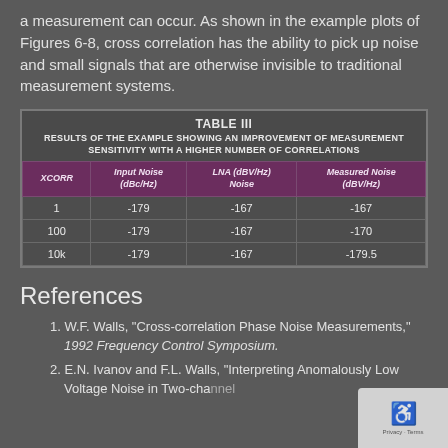a measurement can occur. As shown in the example plots of Figures 6-8, cross correlation has the ability to pick up noise and small signals that are otherwise invisible to traditional measurement systems.
| XCORR | Input Noise (dBc/Hz) | LNA (dBV/Hz) Noise | Measured Noise (dBV/Hz) |
| --- | --- | --- | --- |
| 1 | -179 | -167 | -167 |
| 100 | -179 | -167 | -170 |
| 10k | -179 | -167 | -179.5 |
References
W.F. Walls, "Cross-correlation Phase Noise Measurements," 1992 Frequency Control Symposium.
E.N. Ivanov and F.L. Walls, "Interpreting Anomalously Low Voltage Noise in Two-channel...